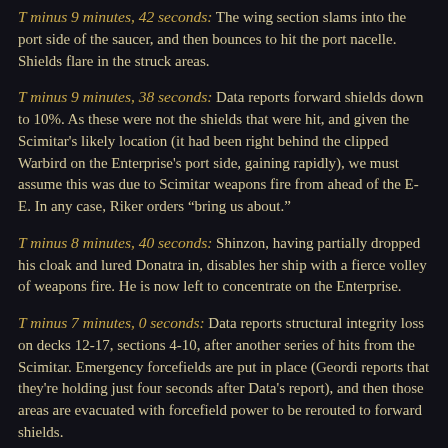T minus 9 minutes, 42 seconds:   The wing section slams into the port side of the saucer, and then bounces to hit the port nacelle.  Shields flare in the struck areas.
T minus 9 minutes, 38 seconds:   Data reports forward shields down to 10%.  As these were not the shields that were hit, and given the Scimitar's likely location (it had been right behind the clipped Warbird on the Enterprise's port side, gaining rapidly), we must assume this was due to Scimitar weapons fire from ahead of the E-E.  In any case, Riker orders "bring us about."
T minus 8 minutes, 40 seconds:   Shinzon, having partially dropped his cloak and lured Donatra in, disables her ship with a fierce volley of weapons fire.  He is now left to concentrate on the Enterprise.
T minus 7 minutes, 0 seconds:   Data reports structural integrity loss on decks 12-17, sections 4-10, after another series of hits from the Scimitar.  Emergency forcefields are put in place (Geordi reports that they're holding just four seconds after Data's report), and then those areas are evacuated with forcefield power to be rerouted to forward shields.
T minus 6 minutes, 16 seconds:   Quantum torpedoes, targeted by Deanna, strike the Scimitar's forward upper areas.  A run by the Enterprise continues to pummel that area.  A running firefight